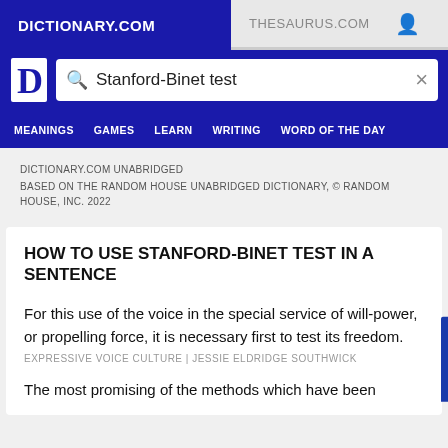DICTIONARY.COM | THESAURUS.COM
[Figure (screenshot): Dictionary.com search bar with 'Stanford-Binet test' query]
MEANINGS | GAMES | LEARN | WRITING | WORD OF THE DAY
DICTIONARY.COM UNABRIDGED
BASED ON THE RANDOM HOUSE UNABRIDGED DICTIONARY, © RANDOM HOUSE, INC. 2022
HOW TO USE STANFORD-BINET TEST IN A SENTENCE
For this use of the voice in the special service of will-power, or propelling force, it is necessary first to test its freedom.
EXPRESSIVE VOICE CULTURE | JESSIE ELDRIDGE SOUTHWICK
The most promising of the methods which have been